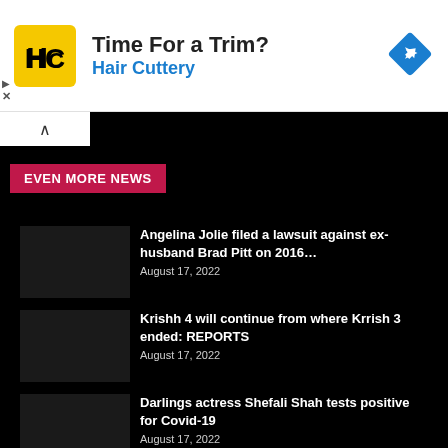[Figure (infographic): Hair Cuttery advertisement banner with logo (HC in yellow circle), text 'Time For a Trim?' and 'Hair Cuttery' in blue, and a blue navigation directions icon on the right.]
EVEN MORE NEWS
Angelina Jolie filed a lawsuit against ex-husband Brad Pitt on 2016…
August 17, 2022
Krishh 4 will continue from where Krrish 3 ended: REPORTS
August 17, 2022
Darlings actress Shefali Shah tests positive for Covid-19
August 17, 2022